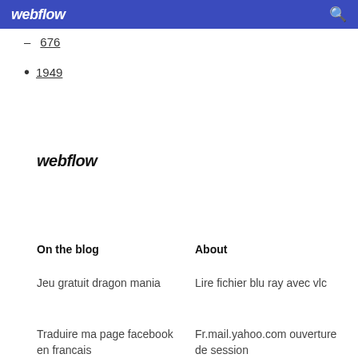webflow
676
1949
webflow
On the blog
About
Jeu gratuit dragon mania
Lire fichier blu ray avec vlc
Traduire ma page facebook en francais
Fr.mail.yahoo.com ouverture de session